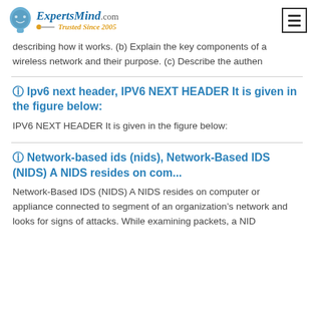ExpertsMind.com Trusted Since 2005
describing how it works. (b) Explain the key components of a wireless network and their purpose. (c) Describe the authen
? Ipv6 next header, IPV6 NEXT HEADER It is given in the figure below:
IPV6 NEXT HEADER It is given in the figure below:
? Network-based ids (nids), Network-Based IDS (NIDS) A NIDS resides on com...
Network-Based IDS (NIDS) A NIDS resides on computer or appliance connected to segment of an organization’s network and looks for signs of attacks. While examining packets, a NID